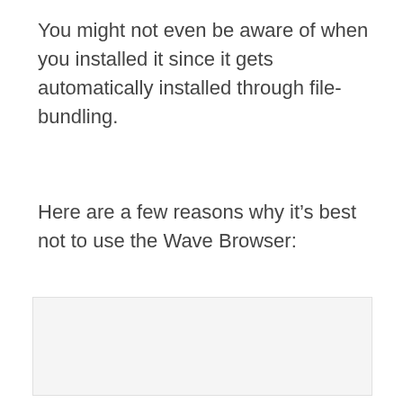You might not even be aware of when you installed it since it gets automatically installed through file-bundling.
Here are a few reasons why it's best not to use the Wave Browser:
[Figure (other): Light gray placeholder box/image area below the text]